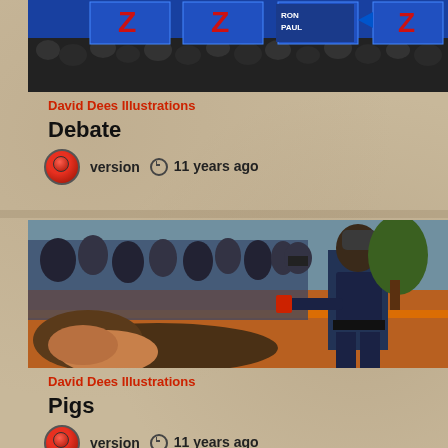[Figure (photo): Photo of a political debate stage with audience, showing Z-logo panels and RON PAUL signage]
David Dees Illustrations
Debate
version   11 years ago
[Figure (photo): Photo of police officer pepper-spraying protesters on the ground at a demonstration]
David Dees Illustrations
Pigs
version   11 years ago